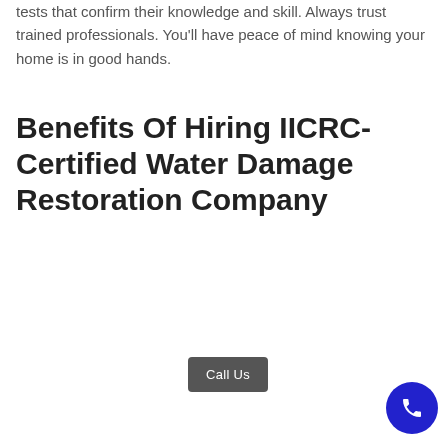tests that confirm their knowledge and skill. Always trust trained professionals. You'll have peace of mind knowing your home is in good hands.
Benefits Of Hiring IICRC-Certified Water Damage Restoration Company